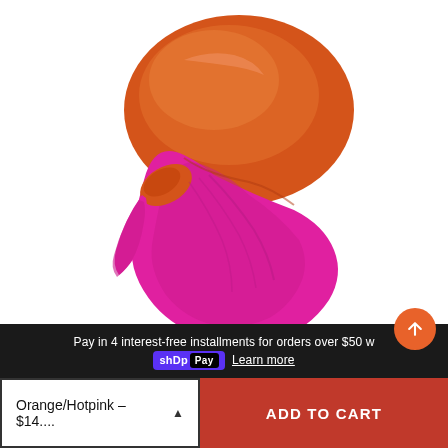[Figure (photo): A satin turban hat in two colors: orange on top and hot pink on the bottom/front, with a knotted accent on the left side. The turban is displayed on a white background.]
Pay in 4 interest-free installments for orders over $50 w shop Pay Learn more
Orange/Hotpink – $14....
ADD TO CART